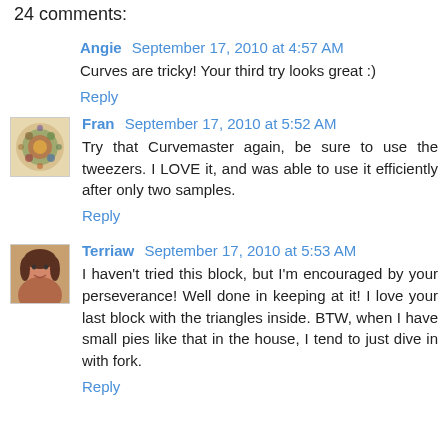24 comments:
Angie  September 17, 2010 at 4:57 AM
Curves are tricky! Your third try looks great :)
Reply
Fran  September 17, 2010 at 5:52 AM
Try that Curvemaster again, be sure to use the tweezers. I LOVE it, and was able to use it efficiently after only two samples.
Reply
Terriaw  September 17, 2010 at 5:53 AM
I haven't tried this block, but I'm encouraged by your perseverance! Well done in keeping at it! I love your last block with the triangles inside. BTW, when I have small pies like that in the house, I tend to just dive in with fork.
Reply